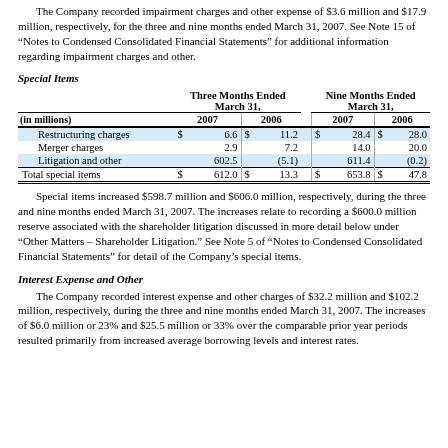The Company recorded impairment charges and other expense of $3.6 million and $17.9 million, respectively, for the three and nine months ended March 31, 2007. See Note 15 of “Notes to Condensed Consolidated Financial Statements” for additional information regarding impairment charges and other.
Special Items
| (in millions) | Three Months Ended March 31, 2007 | Three Months Ended March 31, 2006 | Nine Months Ended March 31, 2007 | Nine Months Ended March 31, 2006 |
| --- | --- | --- | --- | --- |
| Restructuring charges | $ 6.6 | $ 11.2 | $ 28.4 | $ 28.0 |
| Merger charges | 2.9 | 7.2 | 14.0 | 20.0 |
| Litigation and other | 602.5 | (5.1) | 611.4 | (0.2) |
| Total special items | $ 612.0 | $ 13.3 | $ 653.8 | $ 47.8 |
Special items increased $598.7 million and $606.0 million, respectively, during the three and nine months ended March 31, 2007. The increases relate to recording a $600.0 million reserve associated with the shareholder litigation discussed in more detail below under “Other Matters – Shareholder Litigation.” See Note 5 of “Notes to Condensed Consolidated Financial Statements” for detail of the Company’s special items.
Interest Expense and Other
The Company recorded interest expense and other charges of $32.2 million and $102.2 million, respectively, during the three and nine months ended March 31, 2007. The increases of $6.0 million or 23% and $25.5 million or 33% over the comparable prior year periods resulted primarily from increased average borrowing levels and interest rates.